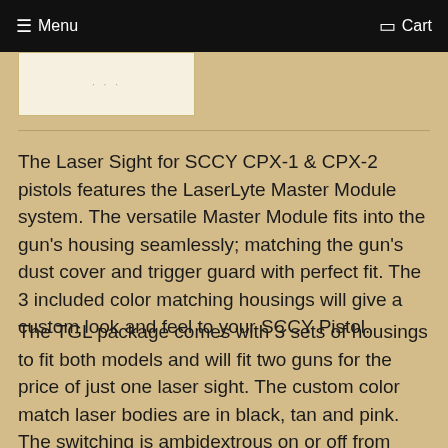Menu  Cart
[Figure (photo): Product image placeholder with dots]
The Laser Sight for SCCY CPX-1 & CPX-2 pistols features the LaserLyte Master Module system. The versatile Master Module fits into the gun's housing seamlessly; matching the gun's dust cover and trigger guard with perfect fit. The 3 included color matching housings will give a custom look and feel to your SCCY Pistol.
The TGL package comes with 3 sets of housings to fit both models and will fit two guns for the price of just one laser sight. The custom color match laser bodies are in black, tan and pink. The switching is ambidextrous on or off from either side. The laser has two modes, pulse and constant on. The auto-off feature will turn your laser off in 6 minutes if it is accidentally